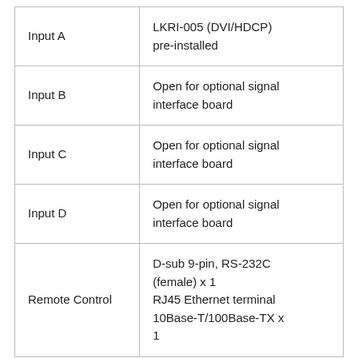|  |  |
| --- | --- |
| Input A | LKRI-005 (DVI/HDCP) pre-installed |
| Input B | Open for optional signal interface board |
| Input C | Open for optional signal interface board |
| Input D | Open for optional signal interface board |
| Remote Control | D-sub 9-pin, RS-232C (female) x 1
RJ45 Ethernet terminal 10Base-T/100Base-TX x 1 |